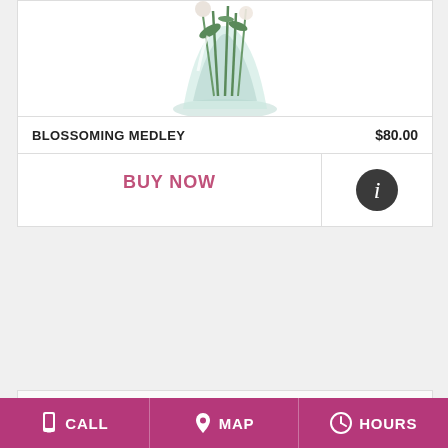[Figure (photo): Partial view of a floral arrangement in a glass vase with green stems and light colored flowers, cropped at top]
BLOSSOMING MEDLEY
$80.00
BUY NOW
[Figure (other): Info button - dark circular icon with letter i]
[Figure (photo): Floral arrangement with pink lilies, red roses, white ranunculus, red snapdragons, and green foliage on white background]
CALL   MAP   HOURS